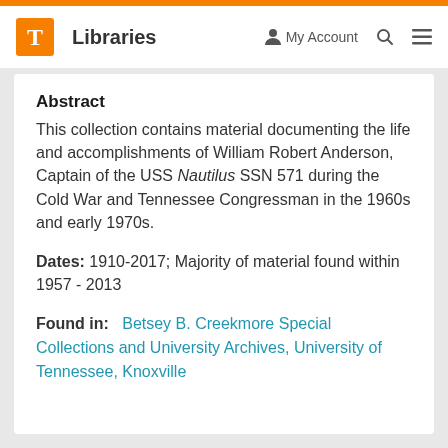T Libraries | My Account | Search | Menu
Abstract
This collection contains material documenting the life and accomplishments of William Robert Anderson, Captain of the USS Nautilus SSN 571 during the Cold War and Tennessee Congressman in the 1960s and early 1970s.
Dates: 1910-2017; Majority of material found within 1957 - 2013
Found in: Betsey B. Creekmore Special Collections and University Archives, University of Tennessee, Knoxville